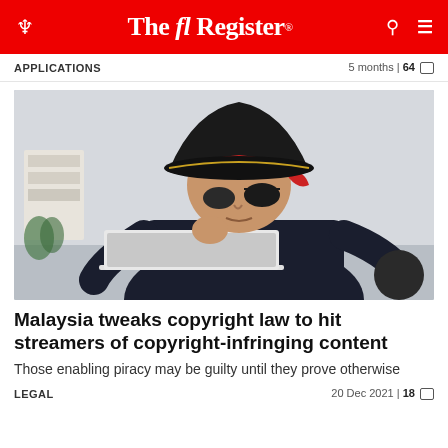The Register
APPLICATIONS    5 months | 64
[Figure (photo): Man dressed as a pirate with tricorn hat, red bandana, and eye patch, sitting at a laptop computer]
Malaysia tweaks copyright law to hit streamers of copyright-infringing content
Those enabling piracy may be guilty until they prove otherwise
LEGAL    20 Dec 2021 | 18